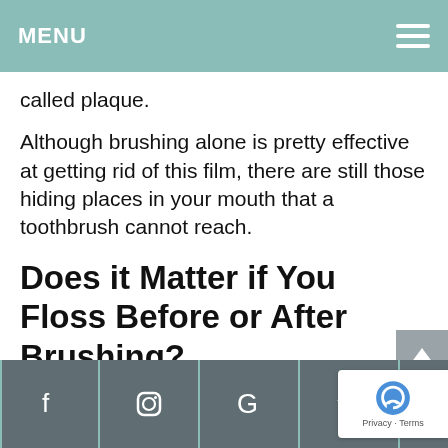MENU
called plaque.
Although brushing alone is pretty effective at getting rid of this film, there are still those hiding places in your mouth that a toothbrush cannot reach.
Does it Matter if You Floss Before or After Brushing?
In short, yes. You should floss your teeth before you brush them.
This order is significant. When you brush yo
Social media links: Facebook, Instagram, Google, Yelp